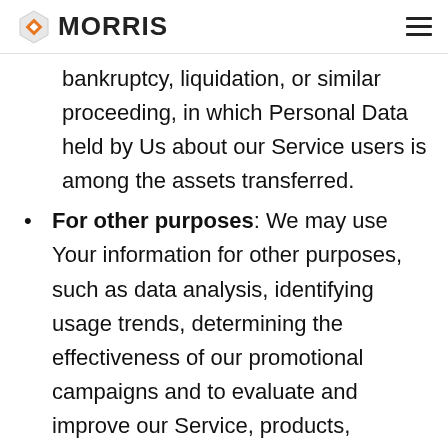MORRIS
bankruptcy, liquidation, or similar proceeding, in which Personal Data held by Us about our Service users is among the assets transferred.
For other purposes: We may use Your information for other purposes, such as data analysis, identifying usage trends, determining the effectiveness of our promotional campaigns and to evaluate and improve our Service, products, services, marketing and your experience.
We may share Your personal information in the following situations: